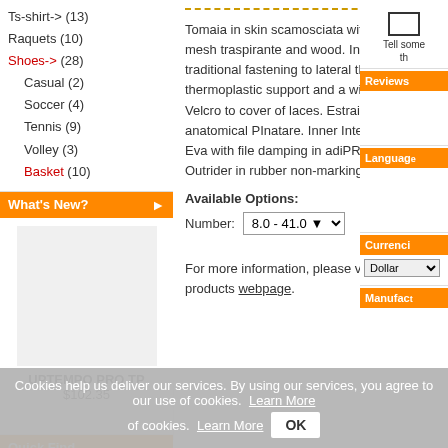Ts-shirt-> (13)
Raquets (10)
Shoes-> (28)
Casual (2)
Soccer (4)
Tennis (9)
Volley (3)
Basket (10)
What's New?
UPTEMPO PRO TP
$102.35
Quick Find
Tomaia in skin scamosciata with inserti in mesh traspirante and wood. Integrated traditional fastening to lateral the thermoplastic support and a width wraps in Velcro to cover of laces. Estraibile anatomical PInatare. Inner Intersuola in Eva with file damping in adiPRENE+. Outrider in rubber non-marking.
Available Options:
Number: 8.0 - 41.0
For more information, please visit this products webpage.
Reviews
Languages
Currencies
Dollar
Manufactu...
Tell someone about this product
Cookies help us deliver our services. By using our services, you agree to our use of cookies. Learn More OK